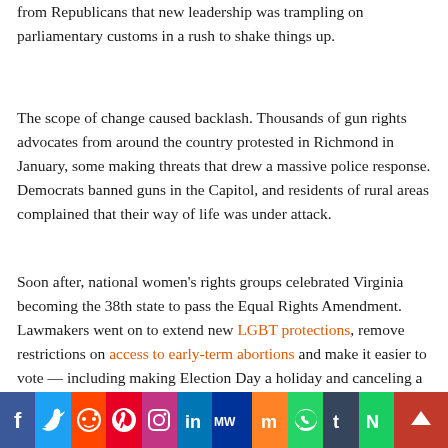from Republicans that new leadership was trampling on parliamentary customs in a rush to shake things up.
The scope of change caused backlash. Thousands of gun rights advocates from around the country protested in Richmond in January, some making threats that drew a massive police response. Democrats banned guns in the Capitol, and residents of rural areas complained that their way of life was under attack.
Soon after, national women's rights groups celebrated Virginia becoming the 38th state to pass the Equal Rights Amendment. Lawmakers went on to extend new LGBT protections, remove restrictions on access to early-term abortions and make it easier to vote — including making Election Day a holiday and canceling a holiday honoring Confederate generals.